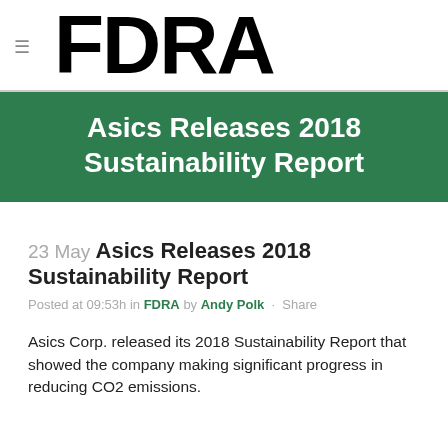FDRA
Asics Releases 2018 Sustainability Report
23 May Asics Releases 2018 Sustainability Report
Posted at 09:53h in FDRA by Andy Polk · Share
Asics Corp. released its 2018 Sustainability Report that showed the company making significant progress in reducing CO2 emissions.